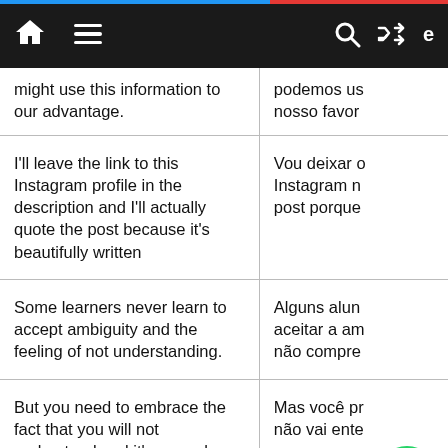Navigation bar with home, menu, search, shuffle icons
| English | Portuguese |
| --- | --- |
| might use this information to our advantage. | podemos us nosso favor |
| I'll leave the link to this Instagram profile in the description and I'll actually quote the post because it's beautifully written | Vou deixar o Instagram n post porque |
| Some learners never learn to accept ambiguity and the feeling of not understanding. | Alguns alun aceitar a am não compre |
| But you need to embrace the fact that you will not understand and it's normal. | Mas você pr não vai ente |
| Instead of viewing yourself as a failure, there is a stage in language learning | Em de s há um até |